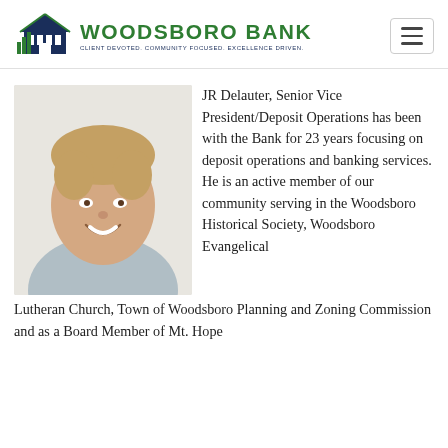[Figure (logo): Woodsboro Bank logo with house/bank icon and tagline: CLIENT DEVOTED. COMMUNITY FOCUSED. EXCELLENCE DRIVEN.]
[Figure (photo): Portrait photo of JR Delauter, a smiling man with light brown hair wearing a light blue shirt, against a light background.]
JR Delauter, Senior Vice President/Deposit Operations has been with the Bank for 23 years focusing on deposit operations and banking services. He is an active member of our community serving in the Woodsboro Historical Society, Woodsboro Evangelical Lutheran Church, Town of Woodsboro Planning and Zoning Commission and as a Board Member of Mt. Hope